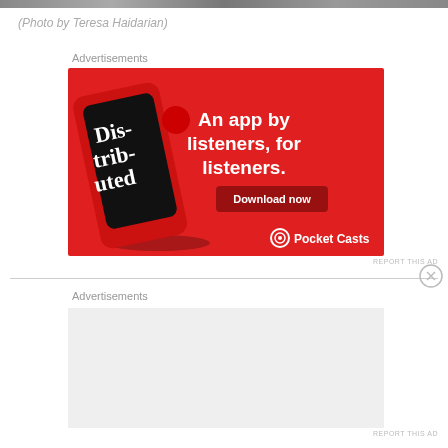[Figure (photo): Partial photo strip at top of page]
(Photo by Teresa Haidarian)
Advertisements
[Figure (illustration): Pocket Casts advertisement. Red background with a smartphone showing 'Distributed' podcast app. Text: 'An app by listeners, for listeners.' with a 'Download now' button and Pocket Casts logo.]
REPORT THIS AD
Advertisements
[Figure (other): Empty advertisement placeholder with light grey background]
REPORT THIS AD